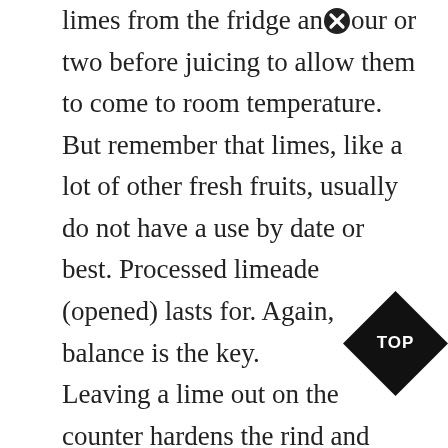limes from the fridge an⓪our or two before juicing to allow them to come to room temperature. But remember that limes, like a lot of other fresh fruits, usually do not have a use by date or best. Processed limeade (opened) lasts for. Again, balance is the key. Leaving a lime out on the counter hardens the rind and dries out the flesh. Zested limes need more protection because the oil in the zest protects the fruit from drying out. Åx80 once frozen, take the ice tray out. Ensure that you remove as much air as possible from the bag prior to sealing it. Leaving them high and dry on the kitchen counter will make them… well, dry. Proper storage means that dehydration will be delayed by four weeks and
[Figure (other): Black diamond-shaped badge with 'TOP' text in white]